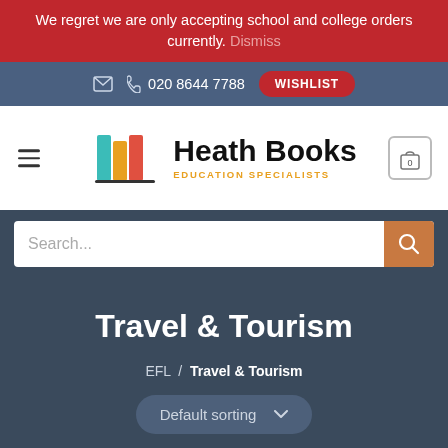We regret we are only accepting school and college orders currently. Dismiss
020 8644 7788  WISHLIST
[Figure (logo): Heath Books Education Specialists logo with colourful book stack icon]
Search...
Travel & Tourism
EFL / Travel & Tourism
Default sorting